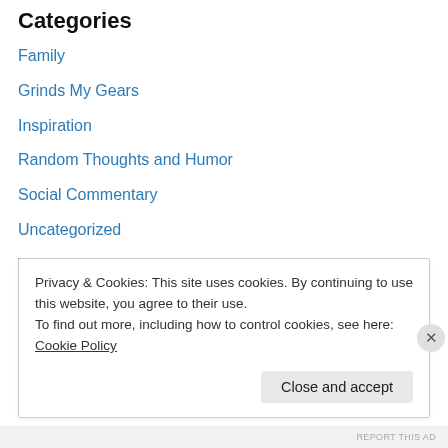Categories
Family
Grinds My Gears
Inspiration
Random Thoughts and Humor
Social Commentary
Uncategorized
Welcome
Work Life
Enter your email address to follow my blog and receive notifications of new posts by email.
Privacy & Cookies: This site uses cookies. By continuing to use this website, you agree to their use.
To find out more, including how to control cookies, see here: Cookie Policy